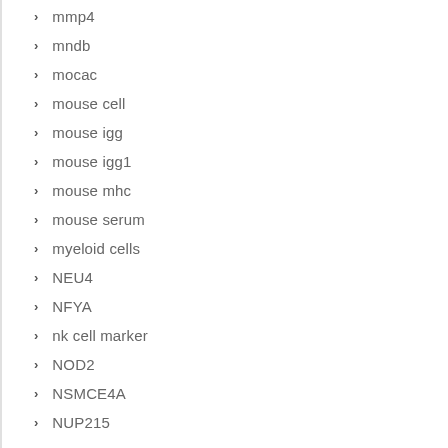mmp4
mndb
mocac
mouse cell
mouse igg
mouse igg1
mouse mhc
mouse serum
myeloid cells
NEU4
NFYA
nk cell marker
NOD2
NSMCE4A
NUP215